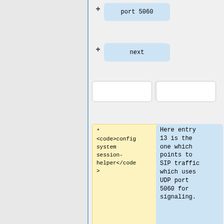[Figure (flowchart): Diff/annotation diagram showing code blocks with yellow highlighting on the left (code items) and blue highlighting on the right (explanatory annotations), connected by plus and minus symbols. Shows config system session-helper and show commands with annotations about SIP traffic on UDP port 5060.]